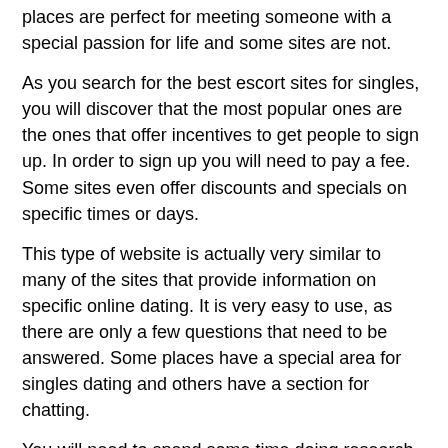places are perfect for meeting someone with a special passion for life and some sites are not.
As you search for the best escort sites for singles, you will discover that the most popular ones are the ones that offer incentives to get people to sign up. In order to sign up you will need to pay a fee. Some sites even offer discounts and specials on specific times or days.
This type of website is actually very similar to many of the sites that provide information on specific online dating. It is very easy to use, as there are only a few questions that need to be answered. Some places have a special area for singles dating and others have a section for chatting.
You will need to spend some time doing research before using any of the online dating sites. This is to ensure that you are choosing the best one for you. You can always search online for tips and advice on choosing the best dating sites for singles.
Related